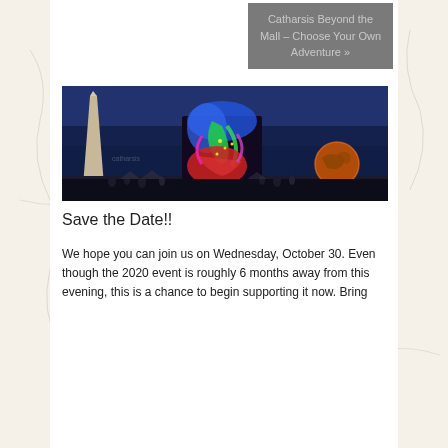Catharsis Beyond the Mall – Choose Your Own Adventure »
[Figure (photo): Night-time photo of the Washington Monument on the left and a colorful illuminated art installation in the center-right, with a glowing globe visible on the right side. The sky is deep blue and the installation features multiple vivid colors — blue, green, red, pink, yellow.]
Save the Date!!
We hope you can join us on Wednesday, October 30. Even though the 2020 event is roughly 6 months away from this evening, this is a chance to begin supporting it now. Bring